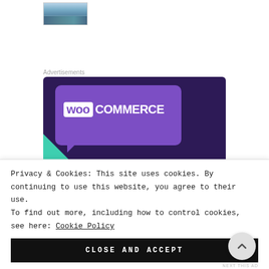[Figure (photo): Small thumbnail image of boats/marina on water with sky background]
Advertisements
[Figure (screenshot): WooCommerce advertisement banner: purple background with WooCommerce logo and text 'Turn your hobby into']
Privacy & Cookies: This site uses cookies. By continuing to use this website, you agree to their use.
To find out more, including how to control cookies, see here: Cookie Policy
CLOSE AND ACCEPT